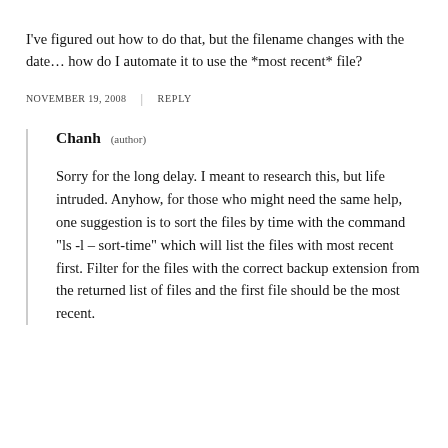I've figured out how to do that, but the filename changes with the date… how do I automate it to use the *most recent* file?
NOVEMBER 19, 2008  |  REPLY
Chanh (author)
Sorry for the long delay. I meant to research this, but life intruded. Anyhow, for those who might need the same help, one suggestion is to sort the files by time with the command "ls -l –sort-time" which will list the files with most recent first. Filter for the files with the correct backup extension from the returned list of files and the first file should be the most recent.